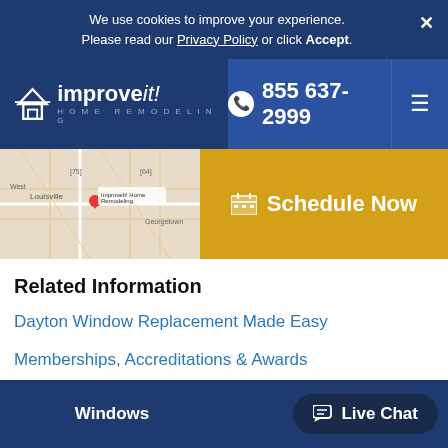We use cookies to improve your experience. Please read our Privacy Policy or click Accept.
[Figure (screenshot): ImprovIt! Home Remodeling logo in white on dark blue nav bar]
855 637-2999
Schedule Now
[Figure (map): Google Maps showing Louisville area with red pin marker at ImproveIt! Home Remodeling location]
Related Information
Dayton Window Replacement Made Easy
Memberships, Accreditations & Awards
Wind Energy – A Way for the Future?
Windows
Live Chat